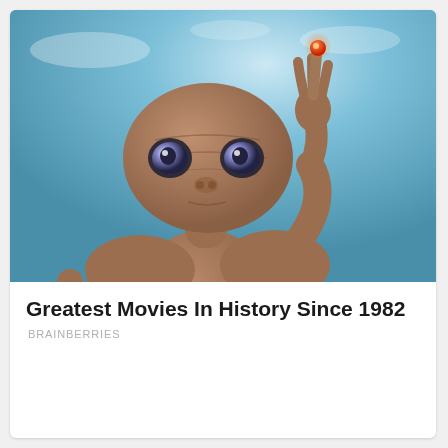[Figure (photo): Photo of E.T. the Extra-Terrestrial character from the 1982 film, shown from the waist up against a blue sky background, with one finger raised upward showing a glowing red fingertip.]
Greatest Movies In History Since 1982
BRAINBERRIES